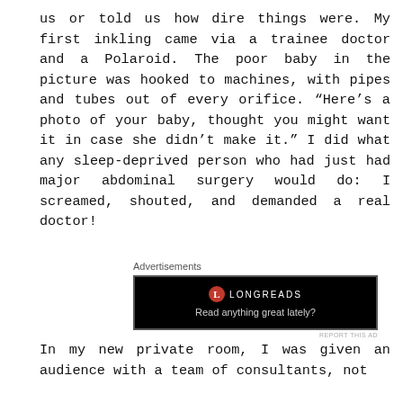us or told us how dire things were. My first inkling came via a trainee doctor and a Polaroid. The poor baby in the picture was hooked to machines, with pipes and tubes out of every orifice. “Here’s a photo of your baby, thought you might want it in case she didn’t make it.” I did what any sleep-deprived person who had just had major abdominal surgery would do: I screamed, shouted, and demanded a real doctor!
Advertisements
[Figure (screenshot): Longreads advertisement banner with black background, red circular logo, text 'LONGREADS' and tagline 'Read anything great lately?']
REPORT THIS AD
In my new private room, I was given an audience with a team of consultants, not